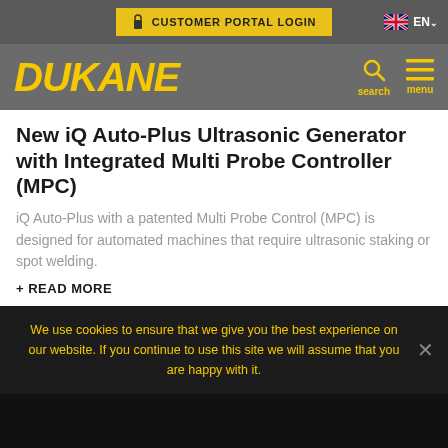CUSTOMER PORTAL LOGIN  EN
[Figure (logo): Dukane company logo in yellow italic bold text on dark gray background, with search and menu icons]
New IQ Auto-Plus Ultrasonic Generator with Integrated Multi Probe Controller (MPC)
iQ Auto-Plus with a patented Multi Probe Control (MPC) is designed for automated machines that require ultrasonic staking or spot welding.
+ READ MORE
We use cookies to ensure that we give you the best experience on our website. If you continue to use this site we will assume that you are happy with it.